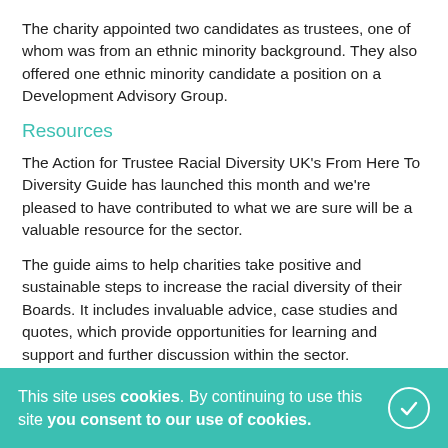The charity appointed two candidates as trustees, one of whom was from an ethnic minority background. They also offered one ethnic minority candidate a position on a Development Advisory Group.
Resources
The Action for Trustee Racial Diversity UK's From Here To Diversity Guide has launched this month and we're pleased to have contributed to what we are sure will be a valuable resource for the sector.
The guide aims to help charities take positive and sustainable steps to increase the racial diversity of their Boards. It includes invaluable advice, case studies and quotes, which provide opportunities for learning and support and further discussion within the sector.
To view the Guide, please click:
For more information about trustee or recruitment options, contact Bernice hook on
This site uses cookies. By continuing to use this site you consent to our use of cookies.